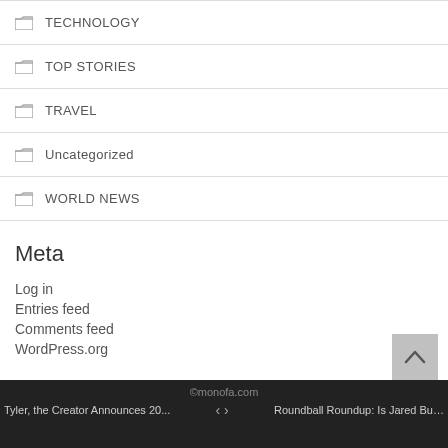TECHNOLOGY
TOP STORIES
TRAVEL
Uncategorized
WORLD NEWS
Meta
Log in
Entries feed
Comments feed
WordPress.org
©monofa.com — Tyler, the Creator Announces 20... < > Roundball Roundup: Is Jared Butl...